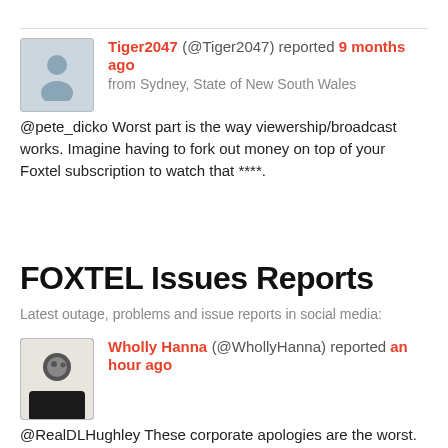Tiger2047 (@Tiger2047) reported 9 months ago from Sydney, State of New South Wales
@pete_dicko Worst part is the way viewership/broadcast works. Imagine having to fork out money on top of your Foxtel subscription to watch that ****.
FOXTEL Issues Reports
Latest outage, problems and issue reports in social media:
Wholly Hanna (@WhollyHanna) reported an hour ago
@RealDLHughley These corporate apologies are the worst. "On behalf of Mr Delany, the Foxtel Group apologies if his remarks were misunderstood and caused any offence."